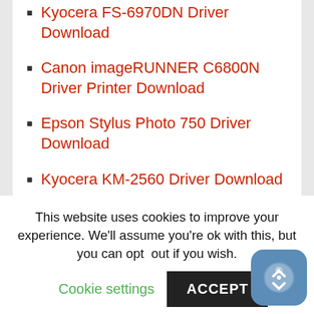Kyocera FS-6970DN Driver Download
Canon imageRUNNER C6800N Driver Printer Download
Epson Stylus Photo 750 Driver Download
Kyocera KM-2560 Driver Download
CATEGORIES
This website uses cookies to improve your experience. We'll assume you're ok with this, but you can opt out if you wish.
Cookie settings
ACCEPT